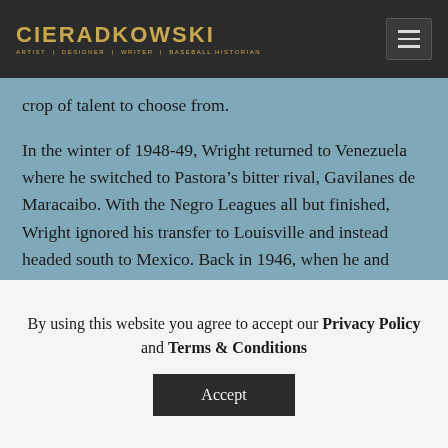CIERADKOWSKI — ARTIST | DESIGNER | WRITER | BASEBALL HISTORIAN
crop of talent to choose from.
In the winter of 1948-49, Wright returned to Venezuela where he switched to Pastora's bitter rival, Gavilanes de Maracaibo. With the Negro Leagues all but finished, Wright ignored his transfer to Louisville and instead headed south to Mexico. Back in 1946, when he and Robinson were integrating organized baseball, the Mexican Baseball League had lured several white big
By using this website you agree to accept our Privacy Policy and Terms & Conditions